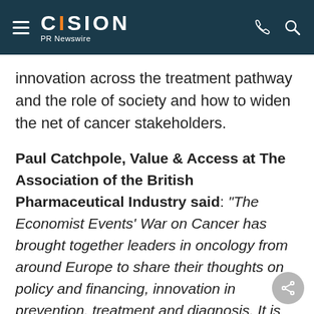CISION PR Newswire
innovation across the treatment pathway and the role of society and how to widen the net of cancer stakeholders.
Paul Catchpole, Value & Access at The Association of the British Pharmaceutical Industry said: "The Economist Events' War on Cancer has brought together leaders in oncology from around Europe to share their thoughts on policy and financing, innovation in prevention, treatment and diagnosis. It is clear that we stand on the brink of a really major opportunity to increase cancer cures and deliver longer and better quality lives for all cancer